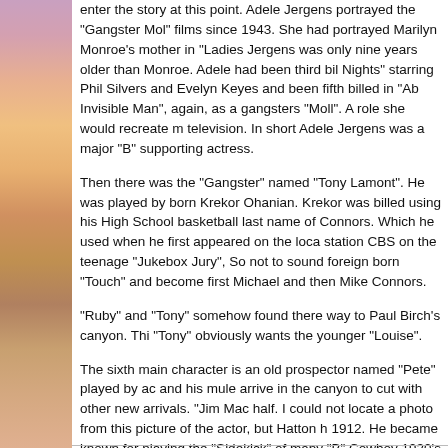[Figure (illustration): Colorful watercolor-style illustration on the left margin, featuring warm oranges, pinks, purples and yellows.]
enter the story at this point. Adele Jergens portrayed the "Gangster Mol" films since 1943. She had portrayed Marilyn Monroe's mother in "Ladies Jergens was only nine years older than Monroe. Adele had been third bil Nights" starring Phil Silvers and Evelyn Keyes and been fifth billed in "Ab Invisible Man", again, as a gangsters "Moll". A role she would recreate m television. In short Adele Jergens was a major "B" supporting actress.
Then there was the "Gangster" named "Tony Lamont". He was played by born Krekor Ohanian. Krekor was billed using his High School basketball last name of Connors. Which he used when he first appeared on the loca station CBS on the teenage "Jukebox Jury", So not to sound foreign born "Touch" and become first Michael and then Mike Connors.
"Ruby" and "Tony" somehow found there way to Paul Birch's canyon. Thi "Tony" obviously wants the younger "Louise".
The sixth main character is an old prospector named "Pete" played by ac and his mule arrive in the canyon to cut with other new arrivals. "Jim Mac half. I could not locate a photo from this picture of the actor, but Hatton h 1912. He became known for playing the "Sidekick" of many "B" Cowboy 1930's John Wayne.
Paul Birch explains to the survivors his rules and how the food will be dis else.